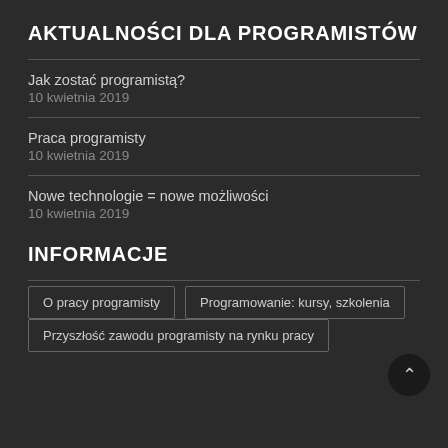AKTUALNOŚCI DLA PROGRAMISTÓW
Jak zostać programistą?
10 kwietnia 2019
Praca programisty
10 kwietnia 2019
Nowe technologie = nowe możliwości
10 kwietnia 2019
INFORMACJE
O pracy programisty
Programowanie: kursy, szkolenia
Przyszłość zawodu programisty na rynku pracy